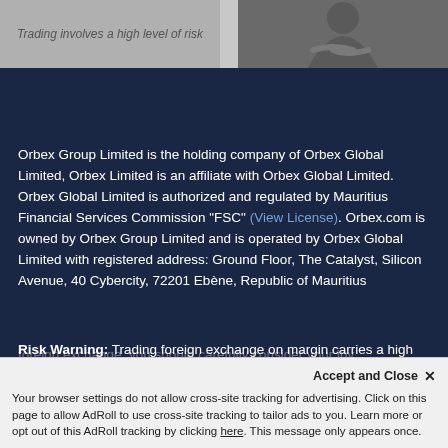[Figure (photo): Top banner with two panels: left panel (grey background) with italic text 'Trading involves a high level of risk', right panel showing a person with arms crossed (dark grey/photo).]
Orbex Group Limited is the holding company of Orbex Global Limited, Orbex Limited is an affiliate with Orbex Global Limited. Orbex Global Limited is authorized and regulated by Mauritius Financial Services Commission “FSC” (View License). Orbex.com is owned by Orbex Group Limited and is operated by Orbex Global Limited with registered address: Ground Floor, The Catalyst, Silicon Avenue, 40 Cybercity, 72201 Ebène, Republic of Mauritius
Risk Warning: Trading foreign exchange on margin carries a high level of risk, and may not be suitable for all investors. Before deciding to trade foreign exchange, you should carefully consider your inv...
Accept and Close × Your browser settings do not allow cross-site tracking for advertising. Click on this page to allow AdRoll to use cross-site tracking to tailor ads to you. Learn more or opt out of this AdRoll tracking by clicking here. This message only appears once.